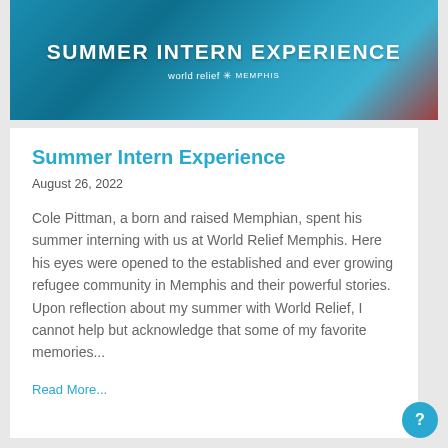[Figure (photo): Banner image with teal/blue background showing people, overlaid with bold white text 'SUMMER INTERN EXPERIENCE' and World Relief Memphis logo]
Summer Intern Experience
August 26, 2022
Cole Pittman, a born and raised Memphian, spent his summer interning with us at World Relief Memphis. Here his eyes were opened to the established and ever growing refugee community in Memphis and their powerful stories. Upon reflection about my summer with World Relief, I cannot help but acknowledge that some of my favorite memories...
Read More...